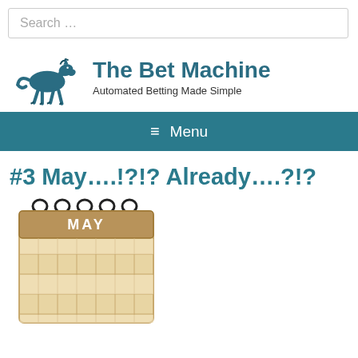[Figure (screenshot): Search bar with placeholder text 'Search ...']
[Figure (logo): The Bet Machine logo with a running horse icon and tagline 'Automated Betting Made Simple']
≡ Menu
#3 May….!?!? Already….?!?
[Figure (illustration): Illustrated calendar open to the month of May with ring binder at top]